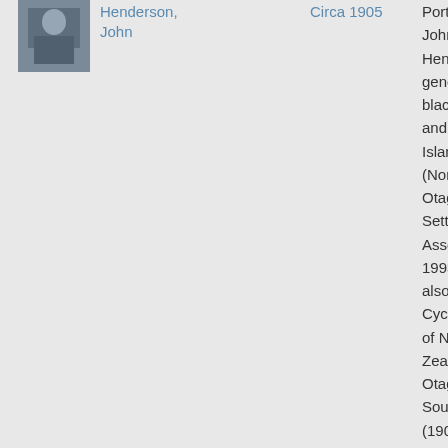[Figure (photo): Small thumbnail photograph of John Henderson, circa 1905]
Henderson, John
Circa 1905
Port John Hen gene blac and Islan (Nor Otag Sett Asso 1993 also Cycl of N Zeal Otag Sout (190